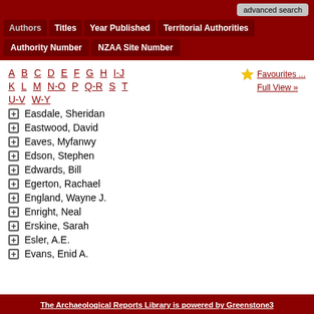advanced search | Authors | Titles | Year Published | Territorial Authorities | Authority Number | NZAA Site Number
A B C D E F G H I-J K L M N-O P Q-R S T U-V W-Y
Favourites ... Full View »
Easdale, Sheridan
Eastwood, David
Eaves, Myfanwy
Edson, Stephen
Edwards, Bill
Egerton, Rachael
England, Wayne J.
Enright, Neal
Erskine, Sarah
Esler, A.E.
Evans, Enid A.
The Archaeological Reports Library is powered by Greenstone3